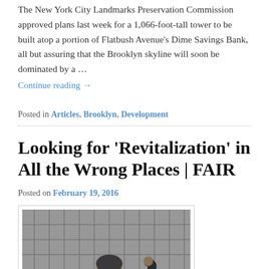The New York City Landmarks Preservation Commission approved plans last week for a 1,066-foot-tall tower to be built atop a portion of Flatbush Avenue's Dime Savings Bank, all but assuring that the Brooklyn skyline will soon be dominated by a …
Continue reading →
Posted in Articles, Brooklyn, Development
Looking for 'Revitalization' in All the Wrong Places | FAIR
Posted on February 19, 2016
[Figure (photo): A person sitting against a chain-link fence outdoors, appearing to be a homeless individual]
With Sacramento's new basketball arena set to open in October,